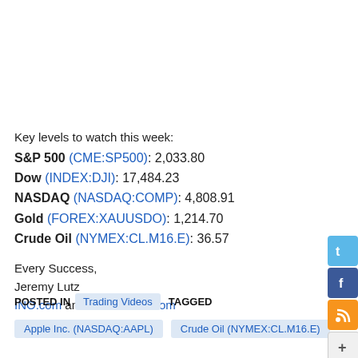Key levels to watch this week:
S&P 500 (CME:SP500): 2,033.80
Dow (INDEX:DJI): 17,484.23
NASDAQ (NASDAQ:COMP): 4,808.91
Gold (FOREX:XAUUSDO): 1,214.70
Crude Oil (NYMEX:CL.M16.E): 36.57
Every Success,
Jeremy Lutz
INO.com and MarketClub.com
POSTED IN  Trading Videos  TAGGED
Apple Inc. (NASDAQ:AAPL)  Crude Oil (NYMEX:CL.M16.E)